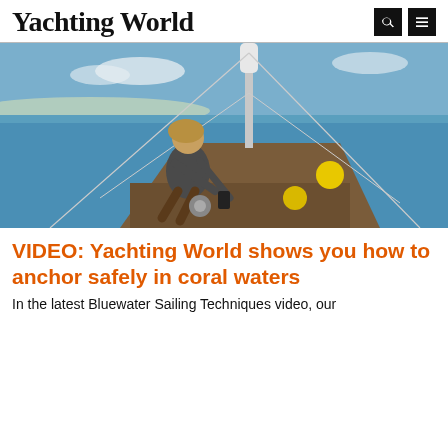Yachting World
[Figure (photo): Person crouching on the bow of a sailboat at sea, working on deck equipment. Yellow buoys are visible on the boat. Blue sea and coastline in background.]
VIDEO: Yachting World shows you how to anchor safely in coral waters
In the latest Bluewater Sailing Techniques video, our